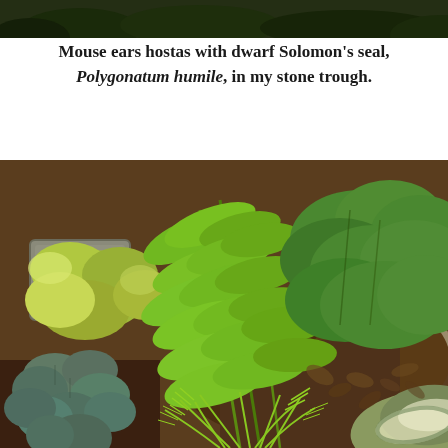[Figure (photo): Top portion of a garden photo showing dark foliage, partially cropped at the top of the page]
Mouse ears hostas with dwarf Solomon's seal, Polygonatum humile, in my stone trough.
[Figure (photo): Garden stone trough with mouse ears hostas (blue-green round leaves), dwarf Solomon's seal (bright green pointed leaves), small fern fronds, and a variegated hosta visible in the lower right corner. Soil and stone visible throughout.]